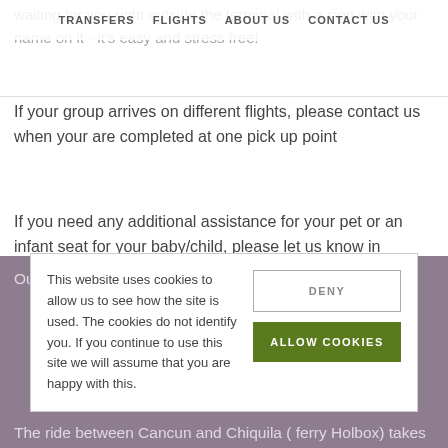waiting for you right outside the terminal with a sign with your name on it - it's easy and stress free!
TRANSFERS   FLIGHTS   ABOUT US   CONTACT US
If your group arrives on different flights, please contact us when your are completed at one pick up point
If you need any additional assistance for your pet or an infant seat for your baby/child, please let us know in advance. ( no extra cost)
Our professional team will take you to Chiquila ferry port
This website uses cookies to allow us to see how the site is used. The cookies do not identify you. If you continue to use this site we will assume that you are happy with this.
DENY
ALLOW COOKIES
The ride between Cancun and Chiquila ( ferry Holbox) takes